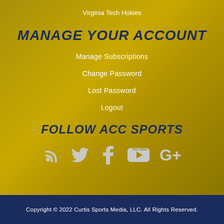Virginia Tech Hokies
MANAGE YOUR ACCOUNT
Manage Subscriptions
Change Password
Lost Password
Logout
FOLLOW ACC SPORTS
[Figure (infographic): Social media icons: RSS feed, Twitter, Facebook, YouTube, Google+]
Copyright © 2022 Curtis Sports Media, LLC. All Rights Reserved.